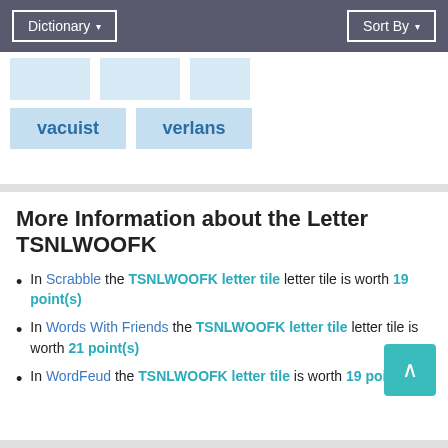Dictionary ▾   Sort By ▾
[Figure (other): Partial row of light-blue word tile placeholders (cut off at top), followed by a row with tiles 'vacuist' and 'verlans']
More Information about the Letter TSNLWOOFK
In Scrabble the TSNLWOOFK letter tile letter tile is worth 19 point(s)
In Words With Friends the TSNLWOOFK letter tile letter tile is worth 21 point(s)
In WordFeud the TSNLWOOFK letter tile is worth 19 point(s)